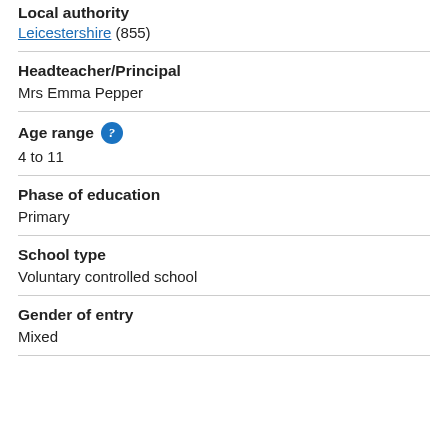Local authority
Leicestershire (855)
Headteacher/Principal
Mrs Emma Pepper
Age range
4 to 11
Phase of education
Primary
School type
Voluntary controlled school
Gender of entry
Mixed